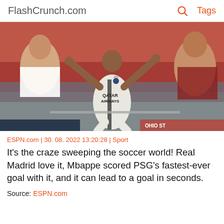FlashCrunch.com  🔍  Tags
[Figure (photo): A soccer player in a white PSG Qatar Airways jersey celebrating with arms outstretched, crowd of fans in red in the background]
ESPN.com | 30. 08. 2022 13:20:28 | Sport
It's the craze sweeping the soccer world! Real Madrid love it, Mbappe scored PSG's fastest-ever goal with it, and it can lead to a goal in seconds.
Source: ESPN.com